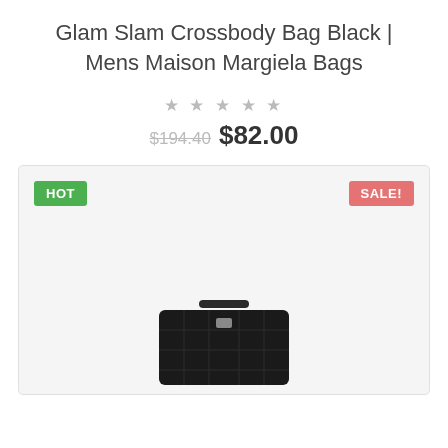Glam Slam Crossbody Bag Black | Mens Maison Margiela Bags
★★★★★
$194.40  $82.00
[Figure (photo): Product image area showing a black Glam Slam Crossbody Bag with HOT and SALE! badges on a light gray background.]